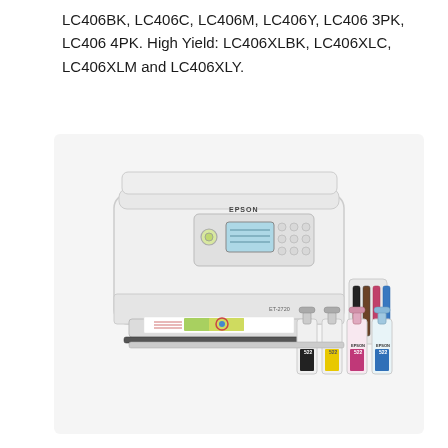LC406BK, LC406C, LC406M, LC406Y, LC406 3PK, LC406 4PK. High Yield: LC406XLBK, LC406XLC, LC406XLM and LC406XLY.
[Figure (photo): Epson ET-2720 EcoTank all-in-one inkjet printer in white, shown with paper tray open and a color test page visible. Four ink bottle refill containers (black, yellow, magenta, cyan) are shown to the right of the printer.]